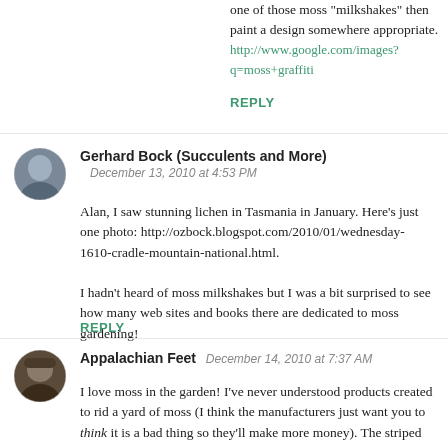one of those moss "milkshakes" then paint a design somewhere appropriate. http://www.google.com/images?q=moss+graffiti
REPLY
[Figure (photo): Circular avatar photo of Gerhard Bock, showing a person against a dark background]
Gerhard Bock (Succulents and More)
December 13, 2010 at 4:53 PM
Alan, I saw stunning lichen in Tasmania in January. Here's just one photo: http://ozbock.blogspot.com/2010/01/wednesday-1610-cradle-mountain-national.html.

I hadn't heard of moss milkshakes but I was a bit surprised to see how many web sites and books there are dedicated to moss gardening!
REPLY
[Figure (photo): Circular avatar photo of Appalachian Feet, person in hat]
Appalachian Feet  December 14, 2010 at 7:37 AM
I love moss in the garden! I've never understood products created to rid a yard of moss (I think the manufacturers just want you to think it is a bad thing so they'll make more money). The striped pattern on that chaste tree is neat!